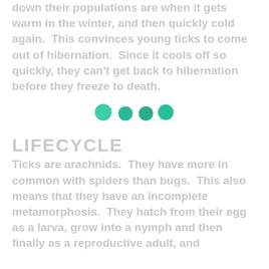down their populations are when it gets warm in the winter, and then quickly cold again. This convinces young ticks to come out of hibernation. Since it cools off so quickly, they can't get back to hibernation before they freeze to death.
[Figure (other): Four decorative teal/green dots of varying sizes arranged horizontally]
LIFECYCLE
Ticks are arachnids. They have more in common with spiders than bugs. This also means that they have an incomplete metamorphosis. They hatch from their egg as a larva, grow into a nymph and then finally as a reproductive adult, and